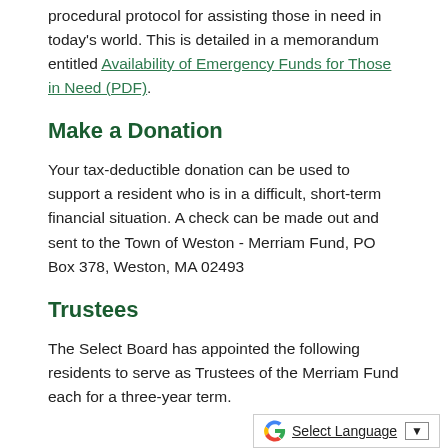procedural protocol for assisting those in need in today's world. This is detailed in a memorandum entitled Availability of Emergency Funds for Those in Need (PDF).
Make a Donation
Your tax-deductible donation can be used to support a resident who is in a difficult, short-term financial situation. A check can be made out and sent to the Town of Weston - Merriam Fund, PO Box 378, Weston, MA 02493
Trustees
The Select Board has appointed the following residents to serve as Trustees of the Merriam Fund each for a three-year term.